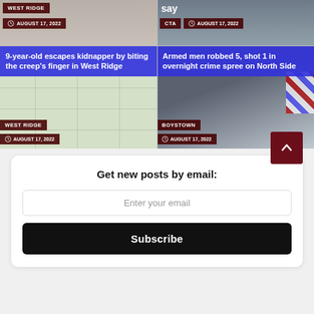[Figure (screenshot): News article card top-left: person photo with WEST RIDGE tag and AUGUST 17, 2022 date]
[Figure (screenshot): News article card top-right: street/car photo with 'say' text, CTA tag, AUGUST 17, 2022 date]
[Figure (screenshot): News article card bottom-left: map photo with title '9-year-old escapes kidnapper by biting the creep's finger in West Ridge', WEST RIDGE, AUGUST 17, 2022]
[Figure (screenshot): News article card bottom-right: police car photo with title 'Armed men robbed 5, shot 1 in overnight crime spree on North Side', BOYSTOWN, AUGUST 17, 2022]
Get new posts by email:
Enter your email
Subscribe